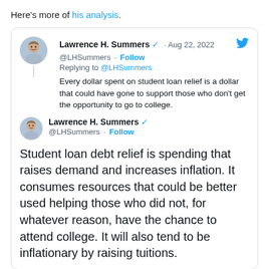Here's more of his analysis.
[Figure (screenshot): Embedded tweet card from Lawrence H. Summers (@LHSummers), Aug 22 2022, with verified badge and Twitter bird logo. First tweet: 'Every dollar spent on student loan relief is a dollar that could have gone to support those who don't get the opportunity to go to college.' With thread continuation: second tweet header showing Lawrence H. Summers @LHSummers Follow. Then large tweet body text: 'Student loan debt relief is spending that raises demand and increases inflation. It consumes resources that could be better used helping those who did not, for whatever reason, have the chance to attend college. It will also tend to be inflationary by raising tuitions.']